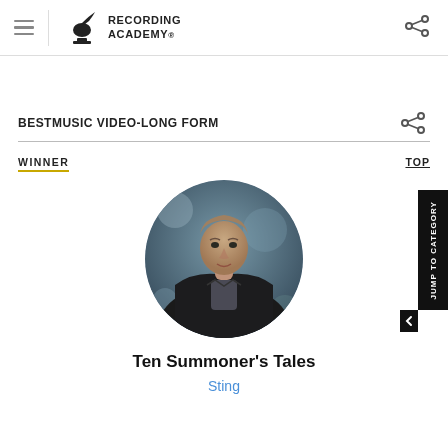Recording Academy
BESTMUSIC VIDEO-LONG FORM
WINNER
TOP
[Figure (photo): Circular portrait photo of Sting wearing a black leather jacket and grey t-shirt]
Ten Summoner's Tales
Sting